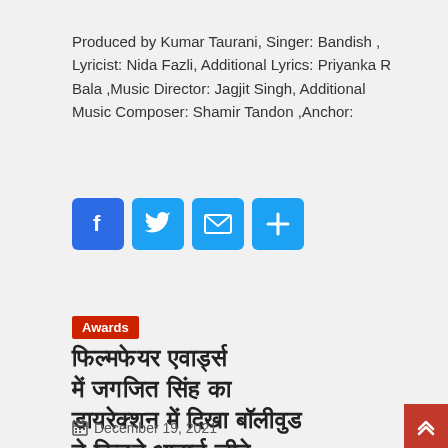Produced by Kumar Taurani, Singer: Bandish , Lyricist: Nida Fazli, Additional Lyrics: Priyanka R Bala ,Music Director: Jagjit Singh, Additional Music Composer: Shamir Tandon ,Anchor:
[Figure (infographic): Social share buttons: Facebook, Twitter, Email, and Plus/More icons in blue rounded squares]
Awards
[Hindi text title in Devanagari script]
December 19, 2021